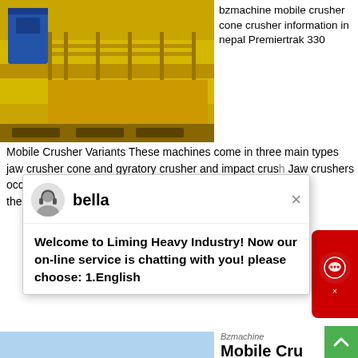[Figure (photo): Industrial yellow mobile crusher / cone crusher machinery with blue components on elevated platform]
bzmachine mobile crusher cone crusher information in nepal Premiertrak 330
Mobile Crusher Variants These machines come in three main types jaw crusher cone and gyratory crusher and impact crus... Jaw crushers occasionally referred to as “toggle crushers” are the most common type of crusher. Some crushers are...
bella
Welcome to Liming Heavy Industry! Now our on-line service is chatting with you! please choose: 1.English
Bzmachine Mobile Crusher Price Cebc.Co.Za
[Figure (photo): Orange and blue mobile stone crusher plant set up outdoors on sandy terrain with mountains in background]
Stone Crusher Price in Saudi Arabia used bzmachine mobile crushers in europe